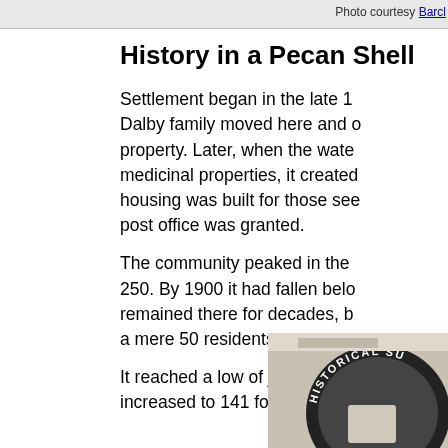Photo courtesy Barcl
History in a Pecan Shell
Settlement began in the late 1... Dalby family moved here and on property. Later, when the wate... medicinal properties, it created housing was built for those see... post office was granted.
The community peaked in the ... 250. By 1900 it had fallen belo... remained there for decades, b... a mere 50 residents.
It reached a low of just 60 in th... increased to 141 for the 2000 ...
[Figure (photo): Partial view of a historical survey marker/sign, showing arc text reading 'HISTORICAL SU' against a dark circular background]